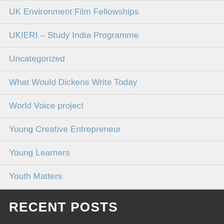UK Environment Film Fellowships
UKIERI – Study India Programme
Uncategorized
What Would Dickens Write Today
World Voice project
Young Creative Entrepreneur
Young Learners
Youth Matters
RECENT POSTS
Level up your language skills in 2021
Top Tips for improving your child's body language